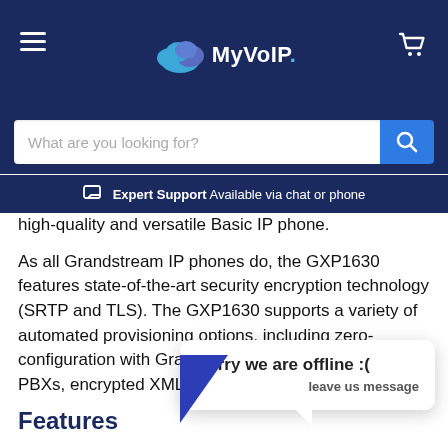MyVoIP.
What are you looking for?
Expert Support Available via chat or phone
high-quality and versatile Basic IP phone.
As all Grandstream IP phones do, the GXP1630 features state-of-the-art security encryption technology (SRTP and TLS). The GXP1630 supports a variety of automated provisioning options, including zero-configuration with Grandstream's UCM series IP PBXs, encrypted XML files and TR-069, to make
Features
3 SIP accounts, 3 line keys, 4-way conferencing, 3 XML
[Figure (screenshot): Chat popup overlay saying 'Sorry we are offline :( leave us message']